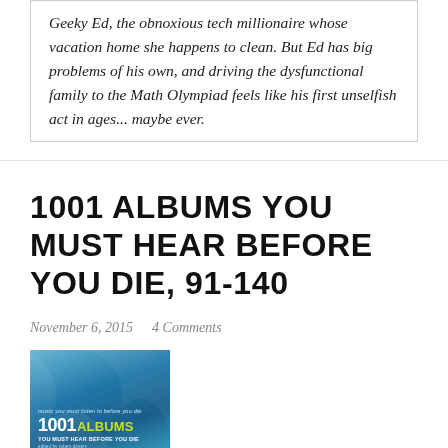Geeky Ed, the obnoxious tech millionaire whose vacation home she happens to clean. But Ed has big problems of his own, and driving the dysfunctional family to the Math Olympiad feels like his first unselfish act in ages... maybe ever.
1001 ALBUMS YOU MUST HEAR BEFORE YOU DIE, 91-140
November 6, 2015   4 Comments
[Figure (photo): Book cover of '1001 Albums You Must Hear Before You Die' with blue gradient background, large '1001' in white and 'ALBUMS' in yellow-green text]